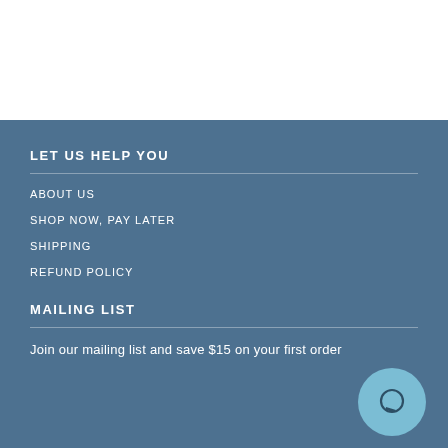LET US HELP YOU
ABOUT US
SHOP NOW, PAY LATER
SHIPPING
REFUND POLICY
MAILING LIST
Join our mailing list and save $15 on your first order